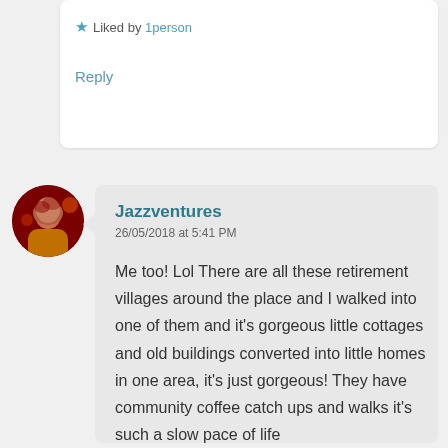★ Liked by 1person
Reply
[Figure (photo): Circular avatar photo of a person in red/orange clothing against a dark red background]
Jazzventures
26/05/2018 at 5:41 PM

Me too! Lol There are all these retirement villages around the place and I walked into one of them and it's gorgeous little cottages and old buildings converted into little homes in one area, it's just gorgeous! They have community coffee catch ups and walks it's such a slow pace of life